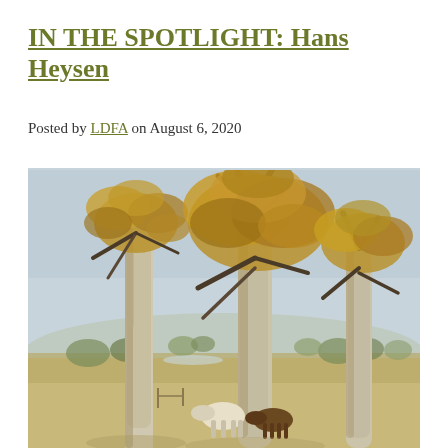IN THE SPOTLIGHT: Hans Heysen
Posted by LDFA on August 6, 2020
[Figure (illustration): Watercolour painting by Hans Heysen depicting large eucalyptus gum trees in an Australian landscape, with cattle grazing in the foreground and rolling hills in the background under a soft sky.]